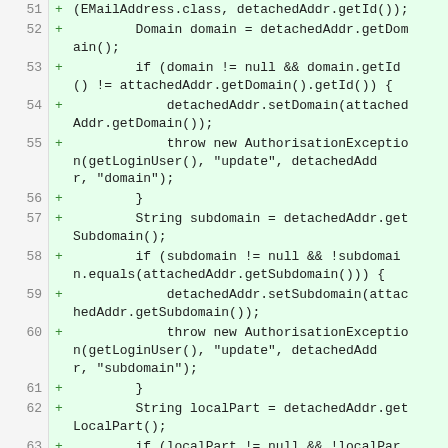[Figure (screenshot): Code diff view showing Java source lines 51-64, all marked as additions (green background, + marker). The code shows domain/subdomain/localPart validation logic with AuthorisationException throws.]